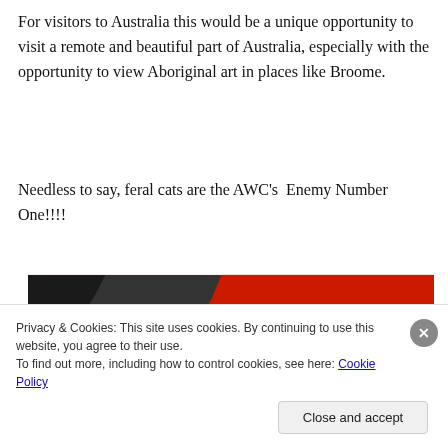For visitors to Australia this would be a unique opportunity to visit a remote and beautiful part of Australia, especially with the opportunity to view Aboriginal art in places like Broome.
Needless to say, feral cats are the AWC's  Enemy Number One!!!!
[Figure (photo): Abstract artwork with bold red and dark/black areas, appearing to be a close-up of an Aboriginal painting.]
Privacy & Cookies: This site uses cookies. By continuing to use this website, you agree to their use.
To find out more, including how to control cookies, see here: Cookie Policy
Close and accept